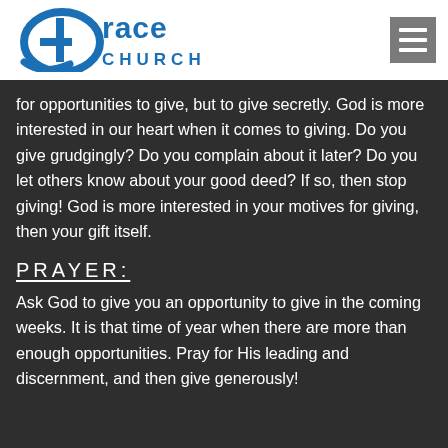[Figure (logo): Grace Church logo in blue with a cross-and-G symbol on the left and 'Grace Church' text on the right]
for opportunities to give, but to give secretly. God is more interested in our heart when it comes to giving. Do you give grudgingly? Do you complain about it later? Do you let others know about your good deed? If so, then stop giving! God is more interested in your motives for giving, then your gift itself.
PRAYER:
Ask God to give you an opportunity to give in the coming weeks. It is that time of year when there are more than enough opportunities. Pray for His leading and discernment, and then give generously!